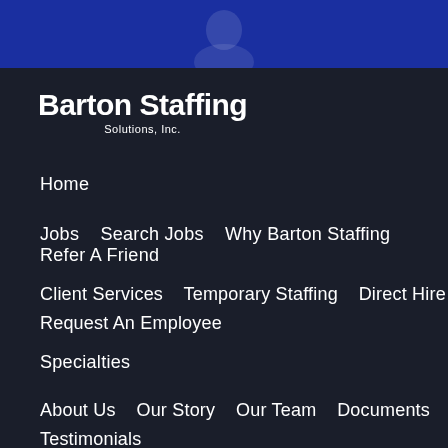[Figure (other): Dark navy blue banner/header bar at top of page with a faint avatar/person silhouette shape in the center]
[Figure (logo): Barton Staffing Solutions, Inc. logo in white bold text on dark background]
Home
Jobs   Search Jobs   Why Barton Staffing   Refer A Friend
Client Services   Temporary Staffing   Direct Hire   Request An Employee
Specialties
About Us   Our Story   Our Team   Documents   Testimonials
Resources